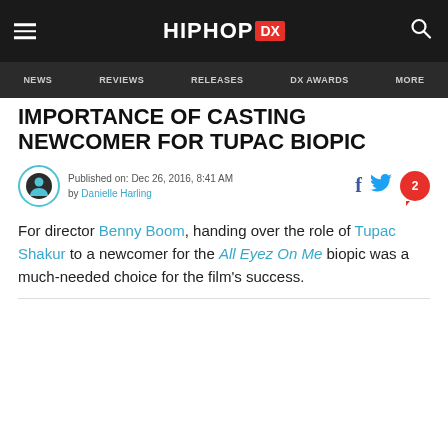HIPHOP DX
NEWS  REVIEWS  RELEASES  DX AWARDS  MORE
IMPORTANCE OF CASTING NEWCOMER FOR TUPAC BIOPIC
Published on: Dec 26, 2016, 8:41 AM by Danielle Harling
For director Benny Boom, handing over the role of Tupac Shakur to a newcomer for the All Eyez On Me biopic was a much-needed choice for the film’s success.